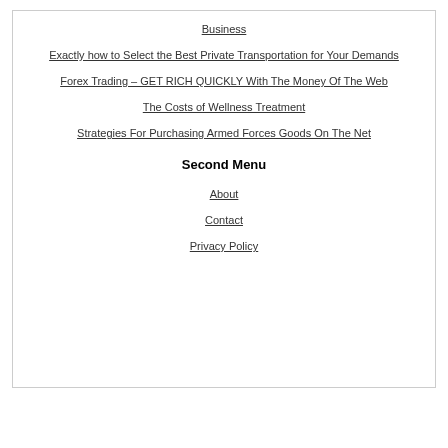Business
Exactly how to Select the Best Private Transportation for Your Demands
Forex Trading – GET RICH QUICKLY With The Money Of The Web
The Costs of Wellness Treatment
Strategies For Purchasing Armed Forces Goods On The Net
Second Menu
About
Contact
Privacy Policy